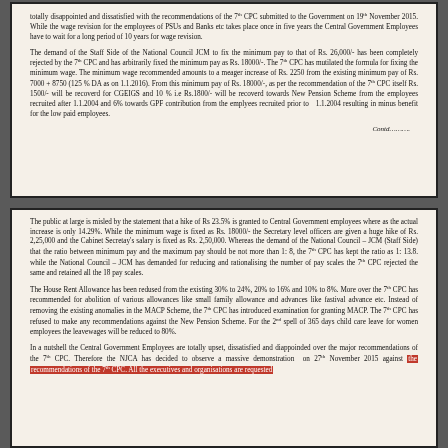totally disappointed and dissatisfied with the recommendations of the 7th CPC submitted to the Government on 19th November 2015. While the wage revision for the employees of PSUs and Banks etc takes place once in five years the Central Government Employees have to wait for a long period of 10 years for wage revision.
The demand of the Staff Side of the National Council JCM to fix the minimum pay to that of Rs. 26,000/- has been completely rejected by the 7th CPC and has arbitrarily fixed the minimum pay as Rs. 18000/-. The 7th CPC has mutilated the formula for fixing the minimum wage. The minimum wage recommended amounts to a meager increase of Rs. 2250 from the existing minimum pay of Rs. 7000 + 8750 (125 % DA as on 1.1.2016). From this minimum pay of Rs. 18000/-, as per the recommendation of the 7th CPC itself Rs. 1500/- will be recoverd for CGEIGS and 10 % i.e Rs.1800/- will be recoverd towards New Pension Scheme from the employees recruited after 1.1.2004 and 6% towards GPF contribution from the emplyees recruited prior to 1.1.2004 resulting in minus benefit for the low paid employees.
Contd……….
The public at large is misled by the statement that a hike of Rs 23.5% is granted to Central Government employees where as the actual increase is only 14.29%. While the minimum wage is fixed as Rs. 18000/- the Secretary level officers are given a huge hike of Rs. 2,25,000 and the Cabinet Secretay's salary is fixed as Rs. 2,50,000. Whereas the demand of the National Council – JCM (Staff Side) that the ratio between minimum pay and the maximum pay should be not more than 1: 8, the 7th CPC has kept the ratio as 1: 13.8. while the National Council – JCM has demanded for reducing and rationalising the number of pay scales the 7th CPC rejected the same and retained all the 18 pay scales.
The House Rent Allowance has been redused from the existing 30% to 24%, 20% to 16% and 10% to 8%. More over the 7th CPC has recommended for abolition of various allowances like small family allowance and advances like fastival advance etc. Instead of removing the existing anomalies in the MACP Scheme, the 7th CPC has introduced examination for granting MACP. The 7th CPC has refused to make any recommendations against the New Pension Scheme. For the 2nd spell of 365 days child care leave for women employees the leavewages will be reduced to 80%.
In a nutshell the Central Government Employees are totally upset, dissatisfied and diappoinded over the major recommendations of the 7th CPC. Therefore the NJCA has decided to observe a massive demonstration on 27th November 2015 against the recommendations of the 7th CPC. All the executives and organisations are requested